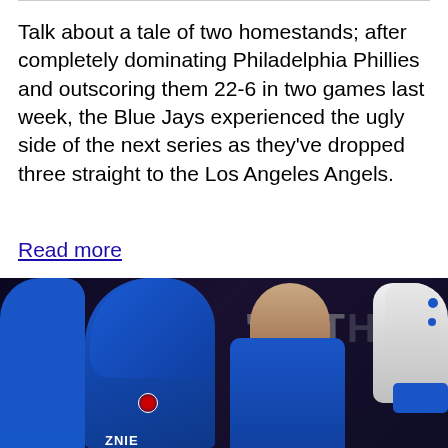Talk about a tale of two homestands; after completely dominating Philadelphia Phillies and outscoring them 22-6 in two games last week, the Blue Jays experienced the ugly side of the next series as they've dropped three straight to the Los Angeles Angels.
Read more
[Figure (photo): Baseball players in blue Toronto Blue Jays uniforms celebrating, one wearing a blue batting helmet, another bald man facing camera, a hand raised with white batting glove with blue accents. Background shows partial text 'ORT' and 'HE' in gray. Dark stadium background.]